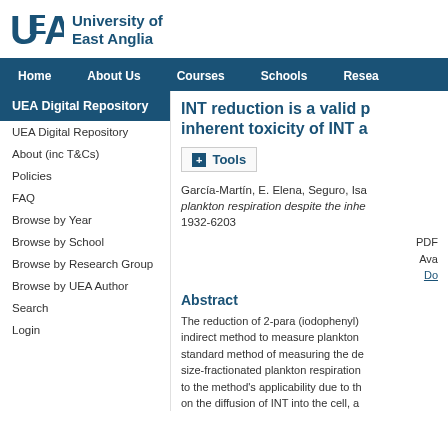[Figure (logo): University of East Anglia logo with UEA letters and full name]
Home   About Us   Courses   Schools   Resea...
UEA Digital Repository
UEA Digital Repository
About (inc T&Cs)
Policies
FAQ
Browse by Year
Browse by School
Browse by Research Group
Browse by UEA Author
Search
Login
INT reduction is a valid p... inherent toxicity of INT a...
+ Tools
García-Martín, E. Elena, Seguro, Isa... plankton respiration despite the inhe... 1932-6203
PDF
Ava...
Do...
Abstract
The reduction of 2-para (iodophenyl)... indirect method to measure plankton... standard method of measuring the de... size-fractionated plankton respiration... to the method's applicability due to th... on the diffusion of INT into the cell, a... (Thalassiosira pseudonana CCMP10... RCC1720 and Oxyrrhis marina CCM...